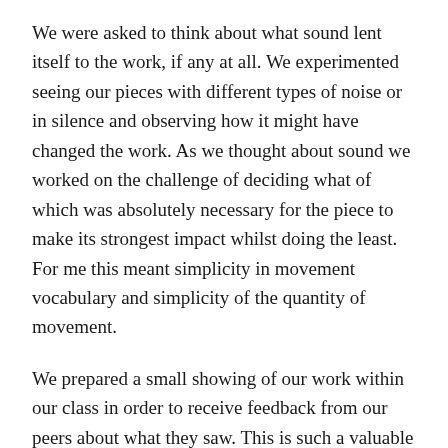We were asked to think about what sound lent itself to the work, if any at all. We experimented seeing our pieces with different types of noise or in silence and observing how it might have changed the work. As we thought about sound we worked on the challenge of deciding what of which was absolutely necessary for the piece to make its strongest impact whilst doing the least. For me this meant simplicity in movement vocabulary and simplicity of the quantity of movement.
We prepared a small showing of our work within our class in order to receive feedback from our peers about what they saw. This is such a valuable tool for any choreographer because it is easy for the work to get lost in itself, therefore mostly unbiased feedback is helpful to know what is really being translated in the movement.
After the movement and sound stages, we were privileged